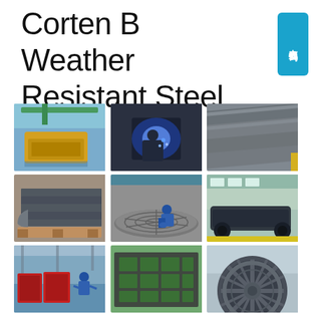Corten B Weather Resistant Steel
[Figure (illustration): Badge with Chinese text 在线咨询 (Online Consultation) in blue rounded rectangle]
[Figure (photo): Grid of 9 industrial photos showing weather resistant steel products and fabrication: yellow steel bucket/frame in factory, worker welding inside metal structure, steel pipes/tubes, steel plates stacked, worker working on circular steel piece, large industrial track/undercarriage component, worker with red fabricated components, flat perforated steel frame/grid, large circular steel wheel component]
Corten B Weather Resistant Steel - industrial fabrication and product photos